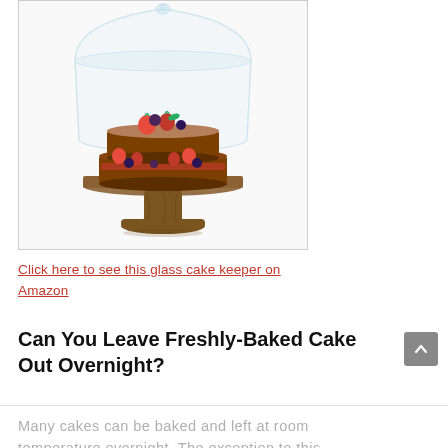[Figure (photo): A two-layer chocolate cake topped with fresh strawberries and blueberries, displayed under a glass dome cloche on a wooden pedestal cake stand, against a white background.]
Click here to see this glass cake keeper on Amazon
Can You Leave Freshly-Baked Cake Out Overnight?
Many cakes can be baked and left at room temperature overnight. The exception to this